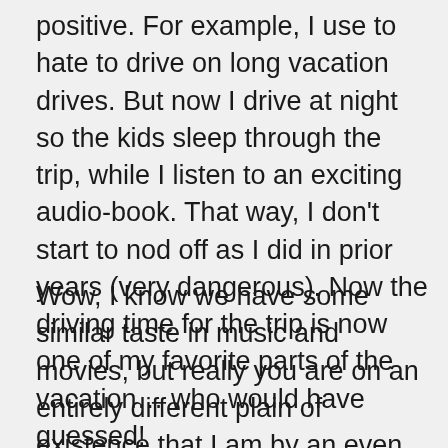positive. For example, I use to hate to drive on long vacation drives. But now I drive at night so the kids sleep through the trip, while I listen to an exciting audiobook. That way, I don't start to nod off as I did in prior years (very dangerous). Now the driving time for the trip is now one of my favorite parts of the vacation… who would have guessed!
Wow, I know we have some similar taste in music and movies, but really you are on an entirely different plain of existence that I am by an even greater amount than I imagined...